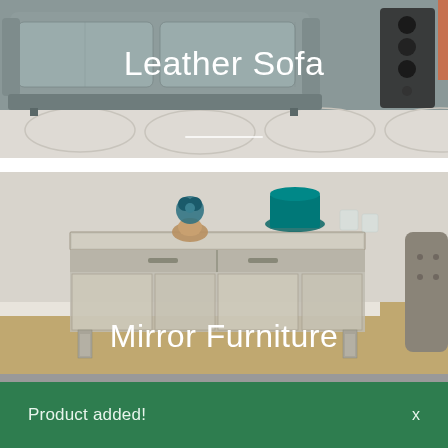[Figure (photo): Photo of a grey leather sofa with a patterned rug on the floor, with text 'Leather Sofa' overlaid in white]
[Figure (photo): Photo of a mirrored console furniture piece with decorative items on top including a teal candle and floral arrangement, with text 'Mirror Furniture' overlaid in white]
Product added!
x